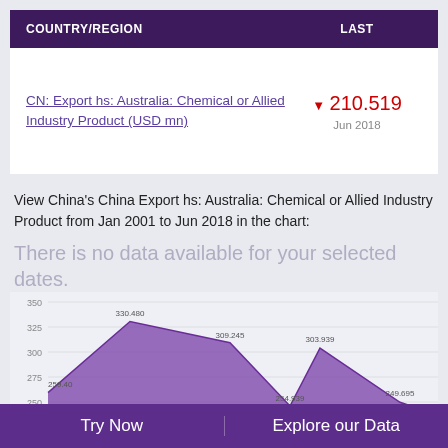| COUNTRY/REGION | LAST |
| --- | --- |
| CN: Export hs: Australia: Chemical or Allied Industry Product (USD mn) | ▼ 210.519
Jun 2018 |
View China's China Export hs: Australia: Chemical or Allied Industry Product from Jan 2001 to Jun 2018 in the chart:
There is no data available for your selected dates.
[Figure (area-chart): China Export hs: Australia: Chemical or Allied Industry Product]
Try Now    Explore our Data